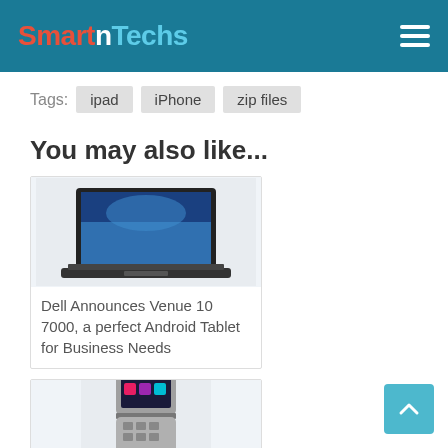SmartnTechs
Tags: ipad  iPhone  zip files
You may also like...
[Figure (photo): Dell laptop/tablet device with keyboard and screen showing colorful wallpaper]
Dell Announces Venue 10 7000, a perfect Android Tablet for Business Needs
[Figure (photo): Samsung flip/clamshell smartphone showing colorful icons on screen]